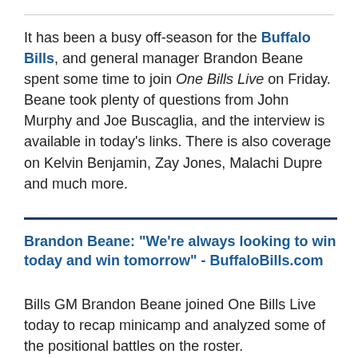It has been a busy off-season for the Buffalo Bills, and general manager Brandon Beane spent some time to join One Bills Live on Friday. Beane took plenty of questions from John Murphy and Joe Buscaglia, and the interview is available in today's links. There is also coverage on Kelvin Benjamin, Zay Jones, Malachi Dupre and much more.
Brandon Beane: "We're always looking to win today and win tomorrow" - BuffaloBills.com
Bills GM Brandon Beane joined One Bills Live today to recap minicamp and analyzed some of the positional battles on the roster.